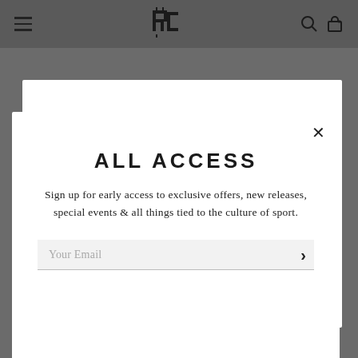Navigation bar with hamburger menu, RC logo, search and cart icons
[Figure (screenshot): Website navigation bar on dark gray background with hamburger menu on left, stylized RC monogram logo in center, search and bag icons on right]
ALL ACCESS
Sign up for early access to exclusive offers, new releases, special events & all things tied to the culture of sport.
Your Email